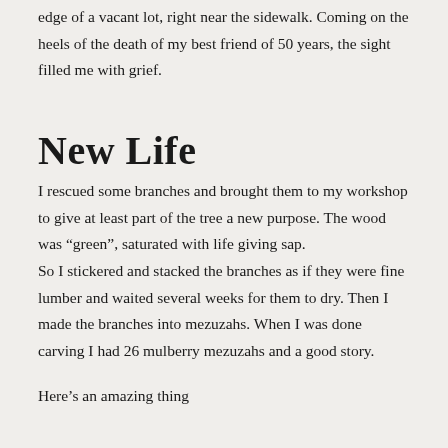edge of a vacant lot, right near the sidewalk. Coming on the heels of the death of my best friend of 50 years, the sight filled me with grief.
New Life
I rescued some branches and brought them to my workshop to give at least part of the tree a new purpose. The wood was “green”, saturated with life giving sap.
So I stickered and stacked the branches as if they were fine lumber and waited several weeks for them to dry. Then I made the branches into mezuzahs. When I was done carving I had 26 mulberry mezuzahs and a good story.
Here’s an amazing thing